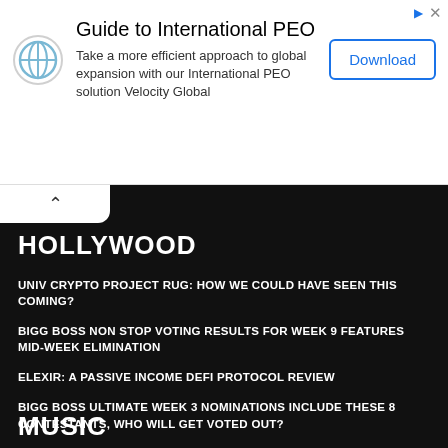[Figure (advertisement): Ad banner for Velocity Global International PEO guide with logo, text, and download button]
HOLLYWOOD
UNIV CRYPTO PROJECT RUG: HOW WE COULD HAVE SEEN THIS COMING?
BIGG BOSS NON STOP VOTING RESULTS FOR WEEK 9 FEATURES MID-WEEK ELIMINATION
ELEXIR: A PASSIVE INCOME DEFI PROTOCOL REVIEW
BIGG BOSS ULTIMATE WEEK 3 NOMINATIONS INCLUDE THESE 8 CONTESTANTS, WHO WILL GET VOTED OUT?
SUJA VARUNEE ELIMINATED FROM BIGG BOSS ULTIMATE SHOW THIS WEEK
MUSIC